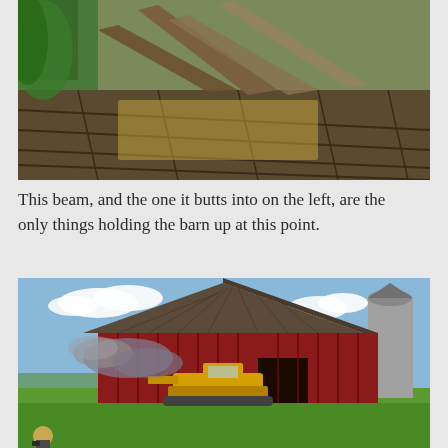[Figure (photo): Interior view of a dilapidated barn floor showing old wooden planks, scattered hay, and broken boards leaning against a wall with green vegetation visible outside]
This beam, and the one it butts into on the left, are the only things holding the barn up at this point.
[Figure (photo): Exterior photo of a large red barn with a curved gambrel roof and attached silo, with a yellow bulldozer/crawler tractor pushing against the barn wall causing smoke or dust to billow out, on a green grassy hillside under a blue sky with clouds]